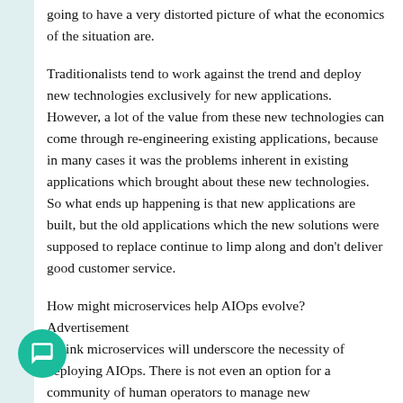going to have a very distorted picture of what the economics of the situation are.
Traditionalists tend to work against the trend and deploy new technologies exclusively for new applications. However, a lot of the value from these new technologies can come through re-engineering existing applications, because in many cases it was the problems inherent in existing applications which brought about these new technologies. So what ends up happening is that new applications are built, but the old applications which the new solutions were supposed to replace continue to limp along and don't deliver good customer service.
How might microservices help AIOps evolve?
Advertisement
I think microservices will underscore the necessity of deploying AIOps. There is not even an option for a community of human operators to manage new